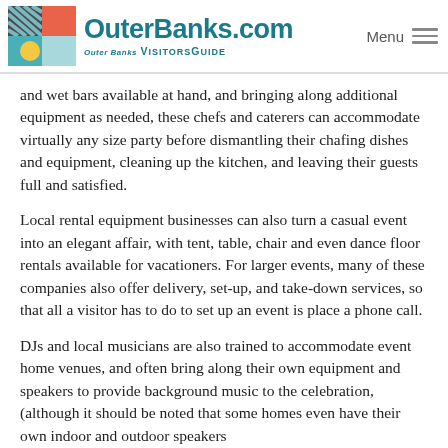OuterBanks.com Visitors Guide
and wet bars available at hand, and bringing along additional equipment as needed, these chefs and caterers can accommodate virtually any size party before dismantling their chafing dishes and equipment, cleaning up the kitchen, and leaving their guests full and satisfied.
Local rental equipment businesses can also turn a casual event into an elegant affair, with tent, table, chair and even dance floor rentals available for vacationers. For larger events, many of these companies also offer delivery, set-up, and take-down services, so that all a visitor has to do to set up an event is place a phone call.
DJs and local musicians are also trained to accommodate event home venues, and often bring along their own equipment and speakers to provide background music to the celebration, (although it should be noted that some homes even have their own indoor and outdoor speakers